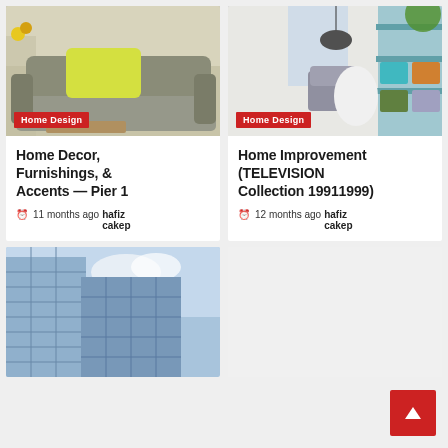[Figure (photo): Gray sofa with yellow pillow, home interior photo]
Home Design
Home Decor, Furnishings, & Accents — Pier 1
11 months ago  hafiz cakep
[Figure (photo): Modern interior room with colorful furniture and shelving]
Home Design
Home Improvement (TELEVISION Collection 19911999)
12 months ago  hafiz cakep
[Figure (photo): Glass skyscraper buildings photographed from below]